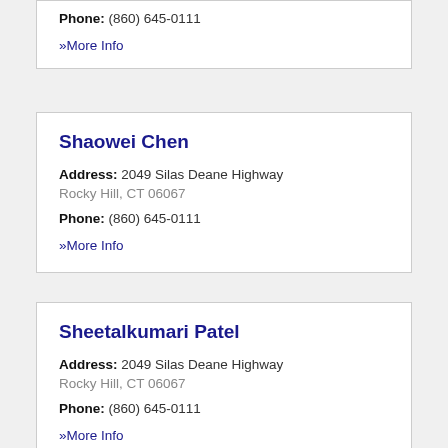Phone: (860) 645-0111
» More Info
Shaowei Chen
Address: 2049 Silas Deane Highway
Rocky Hill, CT 06067
Phone: (860) 645-0111
» More Info
Sheetalkumari Patel
Address: 2049 Silas Deane Highway
Rocky Hill, CT 06067
Phone: (860) 645-0111
» More Info